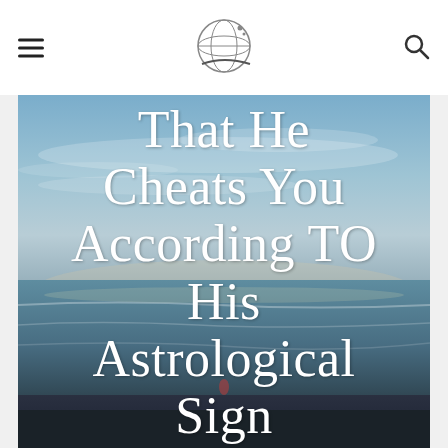Navigation header with hamburger menu, globe logo, and search icon
[Figure (photo): Ocean beach scene at dusk with cloudy sky and ocean waves. Large white serif text reads 'That He Cheats You According TO His Astrological Sign' overlaid on image with a gold horizontal line beneath.]